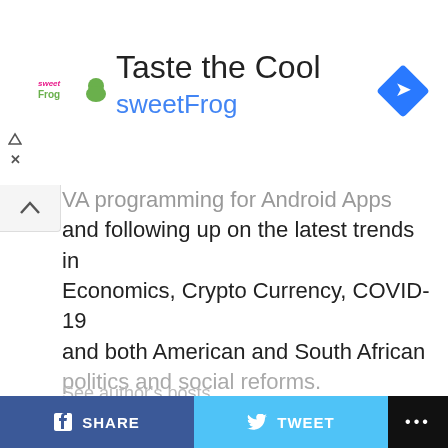[Figure (screenshot): SweetFrog advertisement banner with logo, 'Taste the Cool' title, 'sweetFrog' subtitle in blue, navigation icon on right, and ad controls on left]
VA programming for Android Apps and following up on the latest trends in Economics, Crypto Currency, COVID-19 and both American and South African politics and social reforms.
See author's posts
CONTINUE READING
CHILD TAX CREDIT
SHARE
TWEET